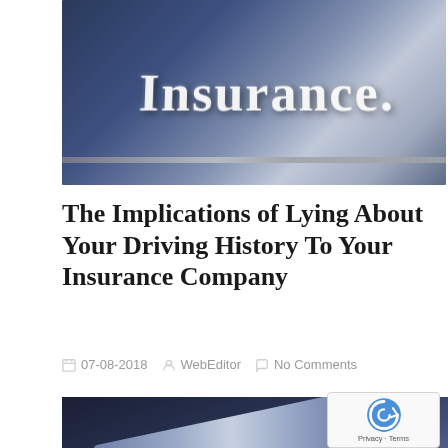[Figure (photo): Close-up photo of the word 'Insurance.' in large white serif letters on a dark metallic reflective surface, motion-blurred background]
The Implications of Lying About Your Driving History To Your Insurance Company
07-08-2018   WebEditor   No Comments
[Figure (photo): Close-up dark blue/purple photo of a car hood or panel with a reflective metallic surface, partial letter visible]